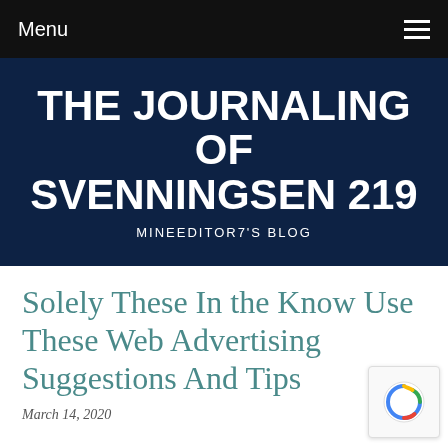Menu
THE JOURNALING OF SVENNINGSEN 219
MINEEDITOR7'S BLOG
Solely These In the Know Use These Web Advertising Suggestions And Tips
March 14, 2020